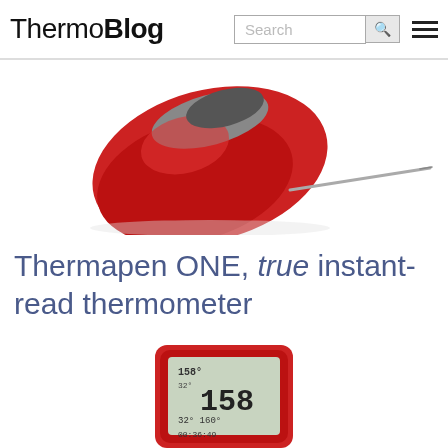ThermoBlog
[Figure (photo): Close-up photo of a red Thermapen ONE instant-read thermometer with metal probe extended, on white background]
Thermapen ONE, true instant-read thermometer
[Figure (photo): Red digital thermometer device showing temperature readings on LCD display, partially cropped at bottom of page]